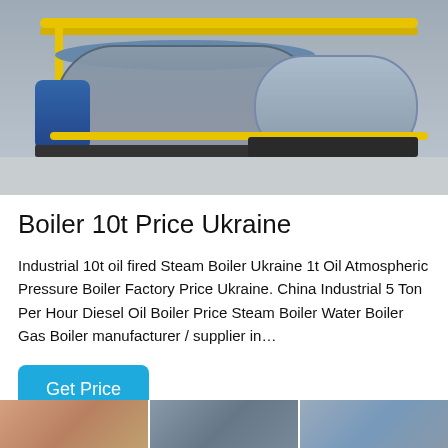[Figure (photo): Industrial boiler room with two large horizontal steam boilers, yellow gas pipes overhead and along the floor, one large blue-fronted boiler on the left and a smaller grey boiler on the right, mounted on black steel frames on a concrete floor.]
Boiler 10t Price Ukraine
Industrial 10t oil fired Steam Boiler Ukraine 1t Oil Atmospheric Pressure Boiler Factory Price Ukraine. China Industrial 5 Ton Per Hour Diesel Oil Boiler Price Steam Boiler Water Boiler Gas Boiler manufacturer / supplier in…
[Figure (photo): Three thumbnail images of boiler equipment at the bottom of the page.]